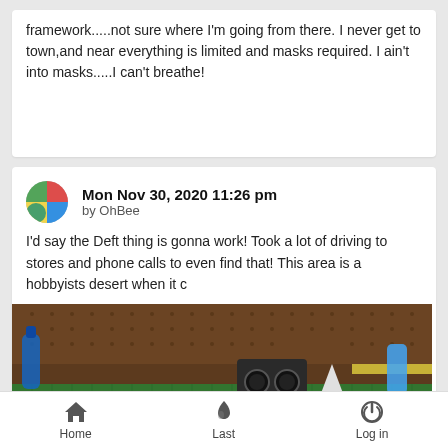framework.....not sure where I'm going from there. I never get to town,and near everything is limited and masks required. I ain't into masks.....I can't breathe!
Mon Nov 30, 2020 11:26 pm
by OhBee
I'd say the Deft thing is gonna work! Took a lot of driving to stores and phone calls to even find that! This area is a hobbyists desert when it c
[Figure (photo): A white model airplane/glider on a green cutting mat workbench, with tools and supplies in the background.]
Home   Last   Log in